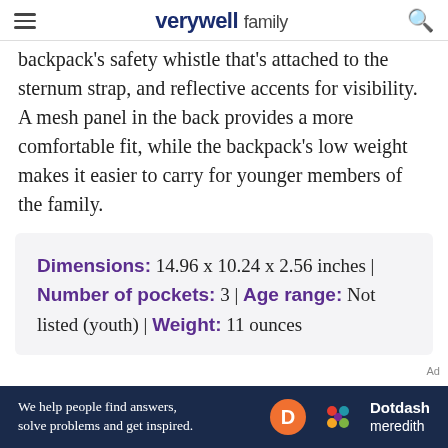verywell family
backpack's safety whistle that's attached to the sternum strap, and reflective accents for visibility. A mesh panel in the back provides a more comfortable fit, while the backpack's low weight makes it easier to carry for younger members of the family.
Dimensions: 14.96 x 10.24 x 2.56 inches | Number of pockets: 3 | Age range: Not listed (youth) | Weight: 11 ounces
[Figure (other): Dotdash Meredith advertisement banner: 'We help people find answers, solve problems and get inspired.']